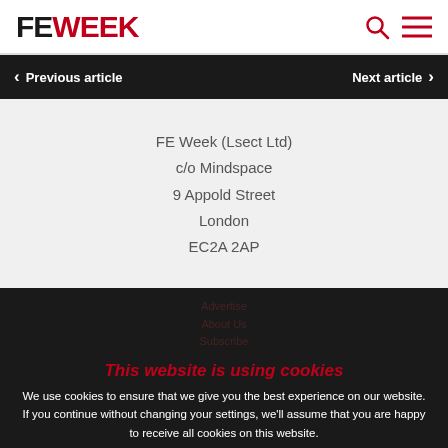FE WEEK
< Previous article   Next article >
FE Week (Lsect Ltd)
c/o Mindspace
9 Appold Street
London
EC2A 2AP
This website is using cookies
We use cookies to ensure that we give you the best experience on our website. If you continue without changing your settings, we'll assume that you are happy to receive all cookies on this website.
Accept   Learn More